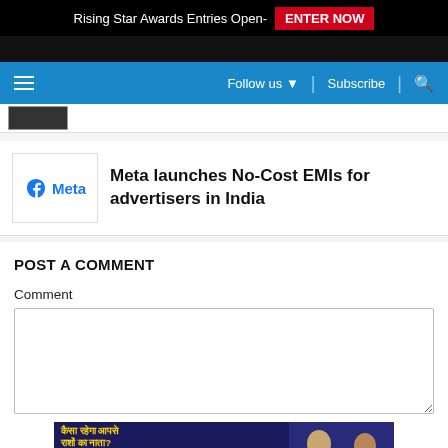Rising Star Awards Entries Open- ENTER NOW
Follow us ▼  |  Subscribe  | 🔍
Meta launches No-Cost EMIs for advertisers in India
POST A COMMENT
Comment
[Figure (screenshot): Comment text area input box]
[Figure (photo): Advertisement banner in Hindi for a horoscope/astrology show with two male presenters on dark blue background]